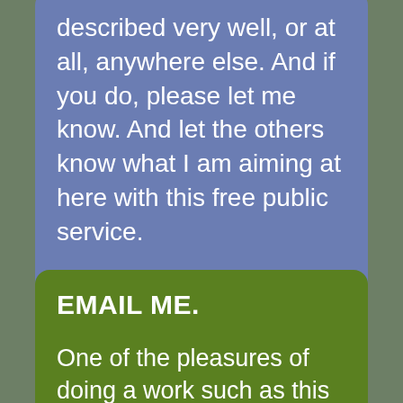described very well, or at all, anywhere else. And if you do, please let me know. And let the others know what I am aiming at here with this free public service.

-Ted Phelps
EMAIL ME.
One of the pleasures of doing a work such as this is